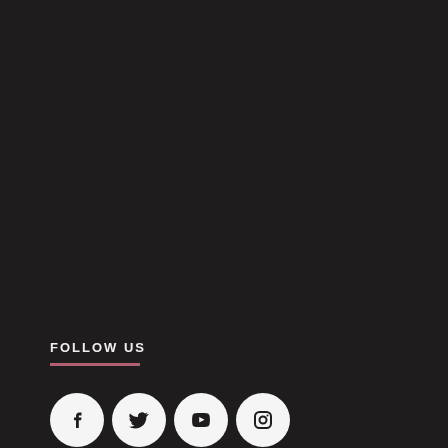FOLLOW US
[Figure (illustration): Four social media icons (Facebook, Twitter, YouTube, Instagram) as white circles with dark icons on a dark background]